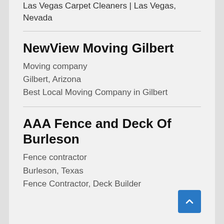Las Vegas Carpet Cleaners | Las Vegas, Nevada
NewView Moving Gilbert
Moving company
Gilbert, Arizona
Best Local Moving Company in Gilbert
AAA Fence and Deck Of Burleson
Fence contractor
Burleson, Texas
Fence Contractor, Deck Builder